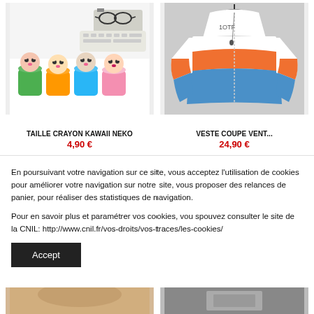[Figure (photo): Kawaii animal pencil sharpeners in colorful cups (green, orange, blue, pink)]
[Figure (photo): White, orange and blue gradient zip-up hoodie jacket on hanger]
TAILLE CRAYON KAWAII NEKO
4,90 €
VESTE COUPE VENT...
24,90 €
En poursuivant votre navigation sur ce site, vous acceptez l'utilisation de cookies pour améliorer votre navigation sur notre site, vous proposer des relances de panier, pour réaliser des statistiques de navigation.
Pour en savoir plus et paramétrer vos cookies, vou spouvez consulter le site de la CNIL: http://www.cnil.fr/vos-droits/vos-traces/les-cookies/
Accept
[Figure (photo): Partial bottom product image - tan/beige colored item]
[Figure (photo): Partial bottom product image - dark item]